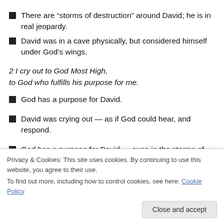There are “storms of destruction” around David; he is in real jeopardy.
David was in a cave physically, but considered himself under God’s wings.
2 I cry out to God Most High, to God who fulfills his purpose for me.
God has a purpose for David.
David was crying out — as if God could hear, and respond.
God has a purpose for David — even in the storms of
Privacy & Cookies: This site uses cookies. By continuing to use this website, you agree to their use.
To find out more, including how to control cookies, see here: Cookie Policy